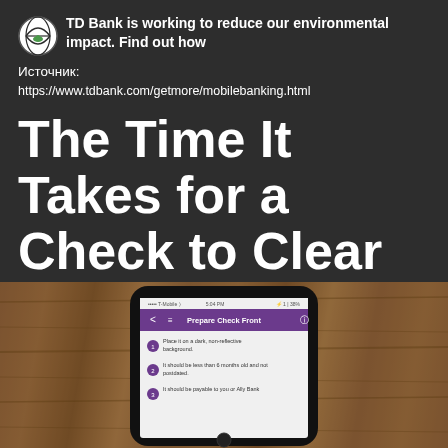TD Bank is working to reduce our environmental impact. Find out how
Источник:
https://www.tdbank.com/getmore/mobilebanking.html
The Time It Takes for a Check to Clear at Top Banks
[Figure (photo): A smartphone displaying a mobile banking app screen titled 'Prepare Check Front' with purple header and numbered steps, resting on a wooden surface]